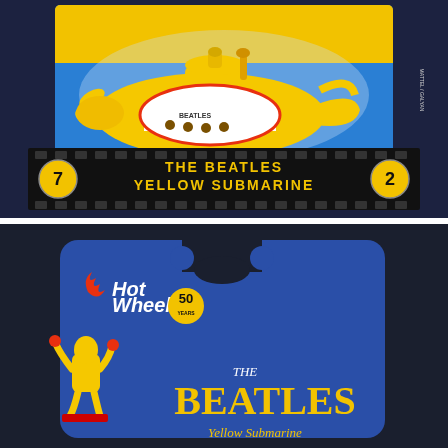[Figure (photo): Hot Wheels The Beatles Yellow Submarine die-cast toy in blue and yellow blister packaging. The black filmstrip banner across the bottom reads 'THE BEATLES YELLOW SUBMARINE' in yellow text, with the number 7 in a circle on the left and 2 on the right.]
[Figure (photo): Back of the Hot Wheels packaging card with blue background. Features the Hot Wheels logo with '50 years' badge, a yellow cartoon figure from the Yellow Submarine film on the left, and large text reading 'THE BEATLES' in yellow serif font with 'Yellow Submarine' below in yellow italic text.]